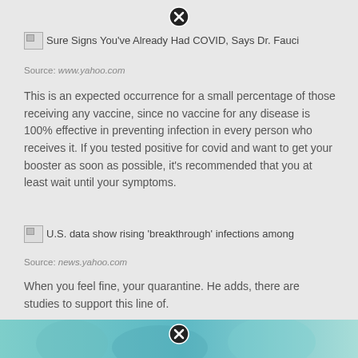[Figure (other): Close button (X) circle icon at top center]
[Figure (other): Broken image placeholder with text: Sure Signs You've Already Had COVID, Says Dr. Fauci]
Source: www.yahoo.com
This is an expected occurrence for a small percentage of those receiving any vaccine, since no vaccine for any disease is 100% effective in preventing infection in every person who receives it. If you tested positive for covid and want to get your booster as soon as possible, it's recommended that you at least wait until your symptoms.
[Figure (other): Broken image placeholder with text: U.S. data show rising 'breakthrough' infections among]
Source: news.yahoo.com
When you feel fine, your quarantine. He adds, there are studies to support this line of.
[Figure (photo): Teal/cyan colored image at the bottom with a close button overlay]
[Figure (other): Close button (X) circle icon at bottom center over image]